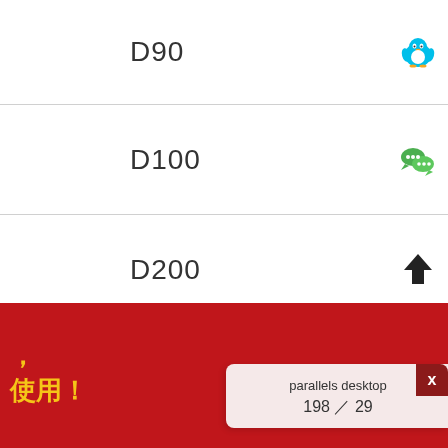D90
D100
D200
D300
D300s
用！
parallels desktop
198  /  29